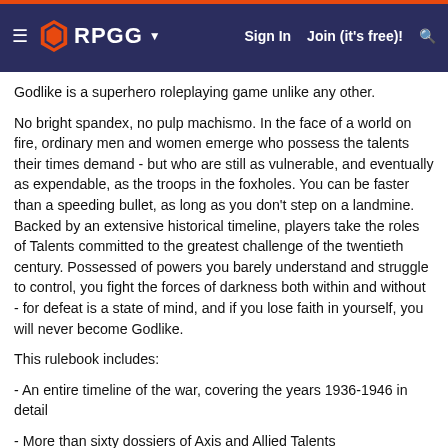RPGG | Sign In | Join (it's free)!
Godlike is a superhero roleplaying game unlike any other.
No bright spandex, no pulp machismo. In the face of a world on fire, ordinary men and women emerge who possess the talents their times demand - but who are still as vulnerable, and eventually as expendable, as the troops in the foxholes. You can be faster than a speeding bullet, as long as you don't step on a landmine. Backed by an extensive historical timeline, players take the roles of Talents committed to the greatest challenge of the twentieth century. Possessed of powers you barely understand and struggle to control, you fight the forces of darkness both within and without - for defeat is a state of mind, and if you lose faith in yourself, you will never become Godlike.
This rulebook includes:
- An entire timeline of the war, covering the years 1936-1946 in detail
- More than sixty dossiers of Axis and Allied Talents
- More than forty Talent powers, as well as the rules necessary to create your own powers
- A "field manual" covering more than 200 weapons and vehicles from all sides of the conflict.